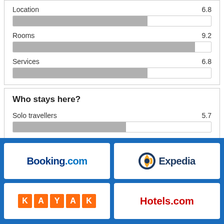[Figure (bar-chart): Rating bars (partial)]
Who stays here?
Solo travellers 5.7
Couples 5.5
[Figure (logo): Booking.com logo]
[Figure (logo): Expedia logo]
[Figure (logo): KAYAK logo]
[Figure (logo): Hotels.com logo]